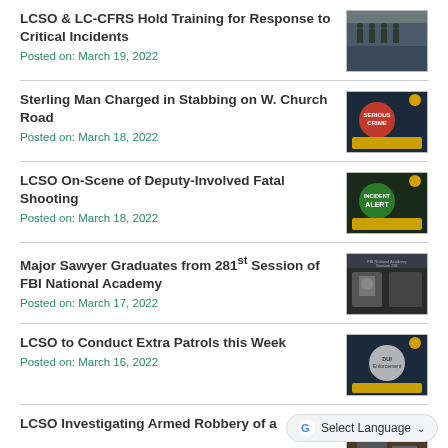LCSO & LC-CFRS Hold Training for Response to Critical Incidents
Posted on: March 19, 2022
Sterling Man Charged in Stabbing on W. Church Road
Posted on: March 18, 2022
LCSO On-Scene of Deputy-Involved Fatal Shooting
Posted on: March 18, 2022
Major Sawyer Graduates from 281st Session of FBI National Academy
Posted on: March 17, 2022
LCSO to Conduct Extra Patrols this Week
Posted on: March 16, 2022
LCSO Investigating Armed Robbery of a